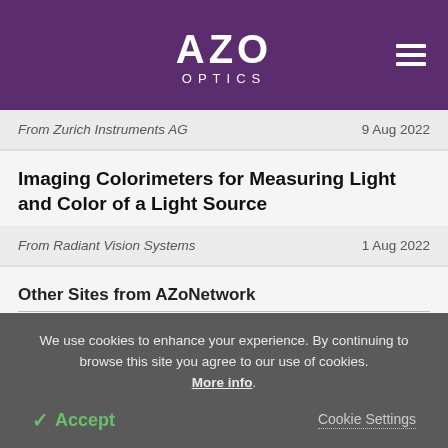AZO OPTICS
From Zurich Instruments AG   9 Aug 2022
Imaging Colorimeters for Measuring Light and Color of a Light Source
From Radiant Vision Systems   1 Aug 2022
Other Sites from AZoNetwork
We use cookies to enhance your experience. By continuing to browse this site you agree to our use of cookies. More info.
Accept   Cookie Settings